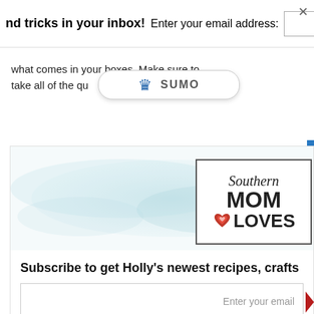nd tricks in your inbox!  Enter your email address:
what comes in your boxes. Make sure to take all of the quizzes.
[Figure (logo): Sumo logo with crown icon and SUMO text in a pill-shaped overlay]
[Figure (illustration): Watercolor light blue brush stroke banner with Southern Mom Loves logo box in upper right corner showing script 'Southern', bold 'MOM', bold 'LOVES' with heart icon]
Subscribe to get Holly's newest recipes, crafts
Enter your email
Subscribe